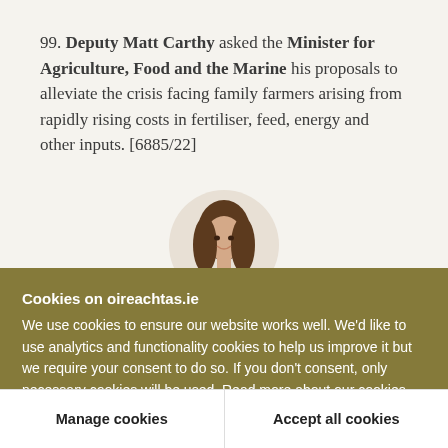99. Deputy Matt Carthy asked the Minister for Agriculture, Food and the Marine his proposals to alleviate the crisis facing family farmers arising from rapidly rising costs in fertiliser, feed, energy and other inputs. [6885/22]
[Figure (photo): Partial photo of a woman with long brown hair, shown from shoulders up, displayed in a circular/oval crop against a beige background]
Cookies on oireachtas.ie
We use cookies to ensure our website works well. We'd like to use analytics and functionality cookies to help us improve it but we require your consent to do so. If you don't consent, only necessary cookies will be used. Read more about our cookies
Manage cookies
Accept all cookies